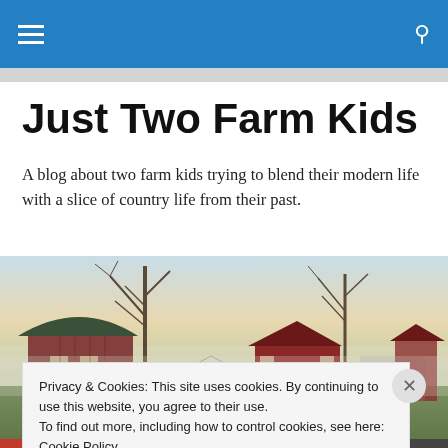Navigation bar with hamburger menu and search icon
Just Two Farm Kids
A blog about two farm kids trying to blend their modern life with a slice of country life from their past.
[Figure (photo): A misty rural farm scene with red barns, bare trees, a small greenhouse structure, and a dirt road, taken in early morning light with soft pastel sky.]
Privacy & Cookies: This site uses cookies. By continuing to use this website, you agree to their use.
To find out more, including how to control cookies, see here: Cookie Policy
Close and accept